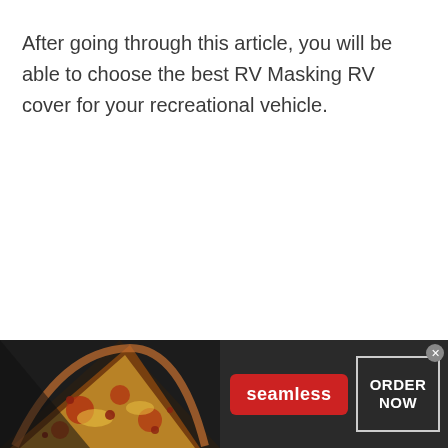After going through this article, you will be able to choose the best RV Masking RV cover for your recreational vehicle.
[Figure (other): Advertisement banner for Seamless food delivery service. Shows pizza image on the left, a red 'seamless' button in the center, and an 'ORDER NOW' button outlined in white on the right. Dark background with a close (x) button in the top right corner.]